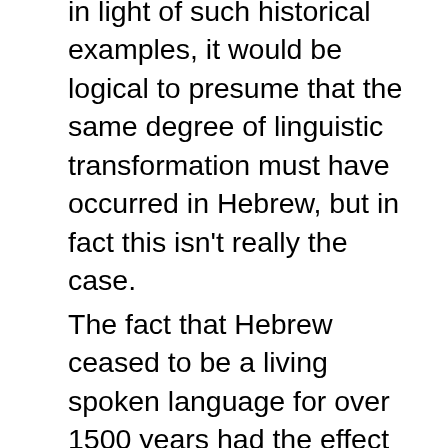in light of such historical examples, it would be logical to presume that the same degree of linguistic transformation must have occurred in Hebrew, but in fact this isn't really the case.
The fact that Hebrew ceased to be a living spoken language for over 1500 years had the effect of essentially putting it on ice and freezing it in time. Because of this, it simply didn't have the same opportunity to naturally evolve as much over time as other ancient languages did, and consequentially– the linguistic chasm between between biblical Hebrew and modern Hebrew isn't nearly as wide as one would it expect it to be. The degree of difference between biblical Hebrew and modern Hebrew is similar to the